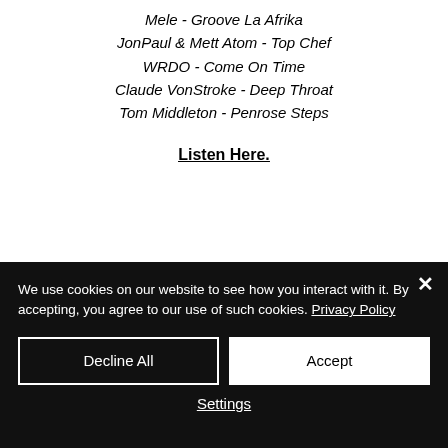Mele - Groove La Afrika
JonPaul & Mett Atom - Top Chef
WRDO - Come On Time
Claude VonStroke - Deep Throat
Tom Middleton - Penrose Steps
Listen Here.
We use cookies on our website to see how you interact with it. By accepting, you agree to our use of such cookies. Privacy Policy
Decline All
Accept
Settings